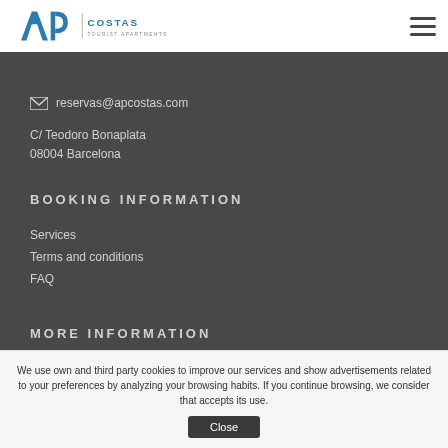[Figure (logo): AP COSTAS Tourist Apartments logo with blue AP letters and hamburger menu icon]
reservas@apcostas.com
C/ Teodoro Bonaplata
08004 Barcelona
BOOKING INFORMATION
Services
Terms and conditions
FAQ
MORE INFORMATION
We use own and third party cookies to improve our services and show advertisements related to your preferences by analyzing your browsing habits. If you continue browsing, we consider that accepts its use.